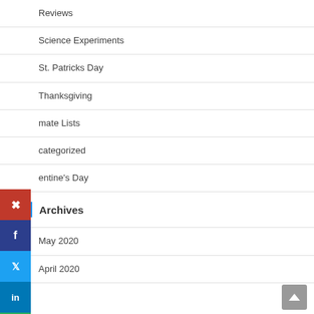Reviews
Science Experiments
St. Patricks Day
Thanksgiving
mate Lists
categorized
entine's Day
Archives
May 2020
April 2020